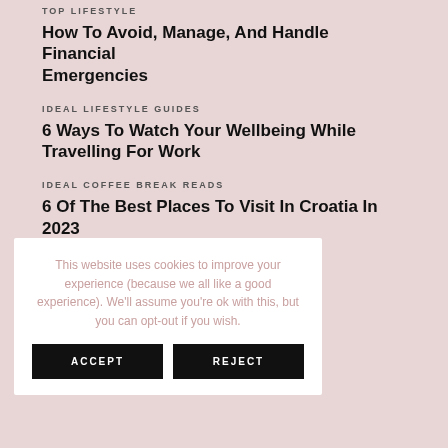TOP LIFESTYLE
How To Avoid, Manage, And Handle Financial Emergencies
IDEAL LIFESTYLE GUIDES
6 Ways To Watch Your Wellbeing While Travelling For Work
IDEAL COFFEE BREAK READS
6 Of The Best Places To Visit In Croatia In 2023
…g Holiday In
This website uses cookies to improve your experience (because we all like a good experience). We'll assume you're ok with this, but you can opt-out if you wish.
ACCEPT
REJECT